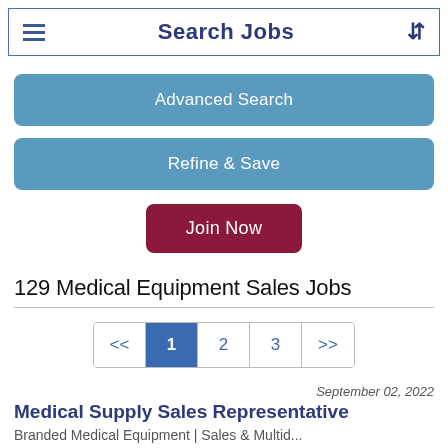Search Jobs
Advanced Search
Refine & Save
Join Now
129 Medical Equipment Sales Jobs
<< 1 2 3 >>
September 02, 2022
Medical Supply Sales Representative
Branded Medical Equipment | Sales & Multid...